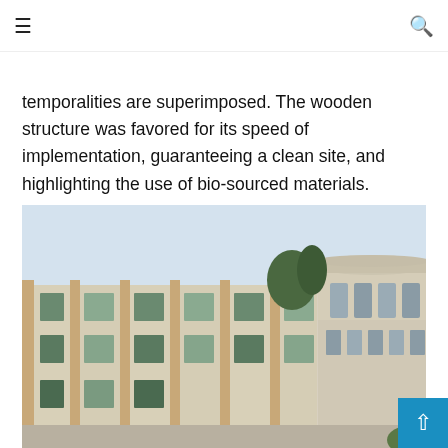≡  [search icon]
temporalities are superimposed. The wooden structure was favored for its speed of implementation, guaranteeing a clean site, and highlighting the use of bio-sourced materials.
[Figure (photo): Exterior architectural photo showing a modern wooden-framed building with corrugated panel cladding next to an older Art Deco cylindrical tower structure, under a pale blue sky.]